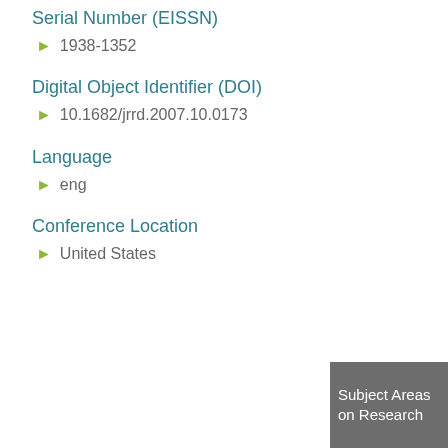Serial Number (EISSN)
1938-1352
Digital Object Identifier (DOI)
10.1682/jrrd.2007.10.0173
Language
eng
Conference Location
United States
Subject Areas on Research